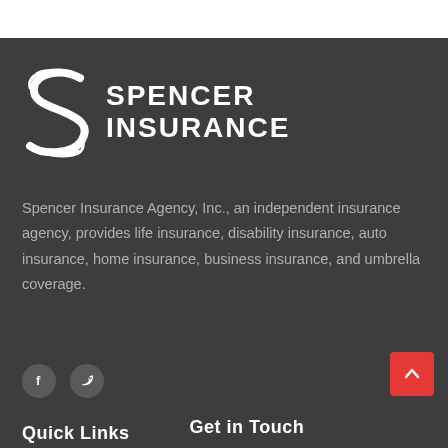[Figure (logo): Spencer Insurance logo with stylized S and bold text SPENCER INSURANCE]
Spencer Insurance Agency, Inc., an independent insurance agency, provides life insurance, disability insurance, auto insurance, home insurance, business insurance, and umbrella coverage.
[Figure (illustration): Social media icons: Facebook (f) and Twitter (bird) as circular grey buttons]
[Figure (illustration): Red scroll-to-top button with upward chevron arrow]
Quick Links
Get in Touch